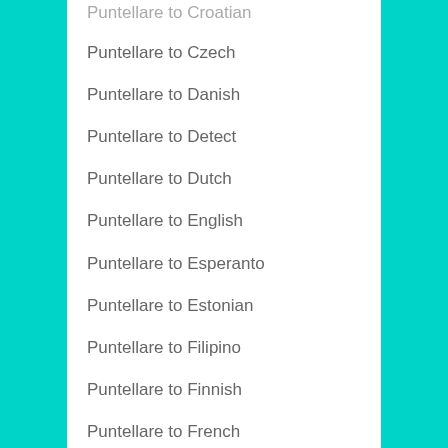Puntellare to Croatian
Puntellare to Czech
Puntellare to Danish
Puntellare to Detect
Puntellare to Dutch
Puntellare to English
Puntellare to Esperanto
Puntellare to Estonian
Puntellare to Filipino
Puntellare to Finnish
Puntellare to French
Puntellare to Frisian
Puntellare to Galician
Puntellare to Georgian